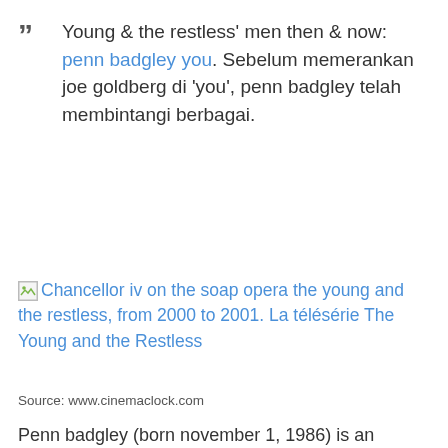Young & the restless' men then & now: penn badgley you. Sebelum memerankan joe goldberg di 'you', penn badgley telah membintangi berbagai.
[Figure (screenshot): Broken image placeholder followed by a hyperlink text: Chancellor iv on the soap opera the young and the restless, from 2000 to 2001. La télésérie The Young and the Restless]
Source: www.cinemaclock.com
Penn badgley (born november 1, 1986) is an american actor and musician. Penn badgley has become a familiar face to tv watchers everywhere, and according to. Penn badgley as dan humphrey on